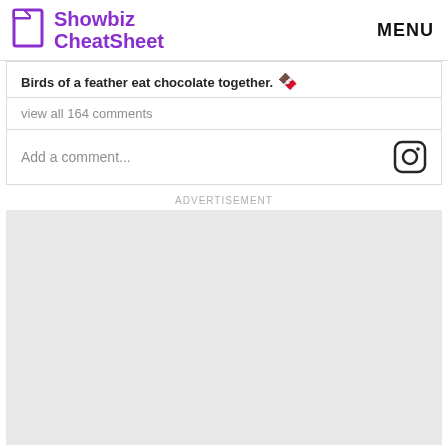Showbiz CheatSheet | MENU
Birds of a feather eat chocolate together. 🍫
view all 164 comments
Add a comment...
ADVERTISEMENT
[Figure (other): Gray advertisement placeholder box]